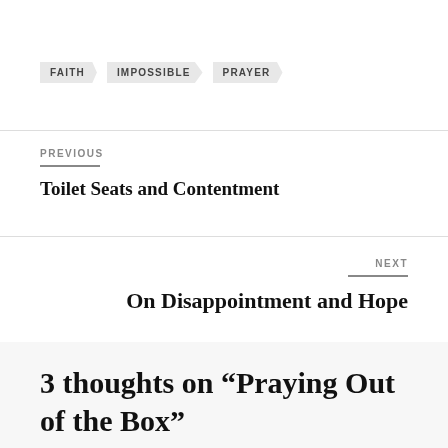FAITH
IMPOSSIBLE
PRAYER
PREVIOUS
Toilet Seats and Contentment
NEXT
On Disappointment and Hope
3 thoughts on “Praying Out of the Box”